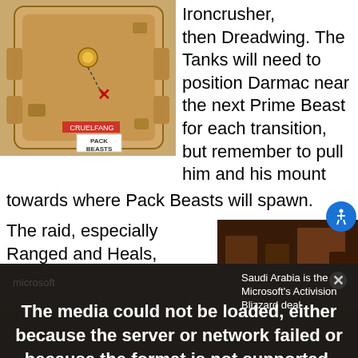[Figure (screenshot): Game map showing Cruelfang and Pack Beasts locations with red X marker]
Ironcrusher, then Dreadwing. The Tanks will need to position Darmac near the next Prime Beast for each transition, but remember to pull him and his mount towards where Pack Beasts will spawn.
The raid, especially Ranged and Heals, should spread
[Figure (screenshot): Game screenshot - dark dungeon scene]
The media could not be loaded, either because the server or network failed or because the format is not supported.
Saudi Arabia is the Microsoft's Activision Blizzard deal
Conflagration, and Infernobreath/Superheated Shrapnel.
[Figure (screenshot): Game screenshot bottom]
It's important that DPS